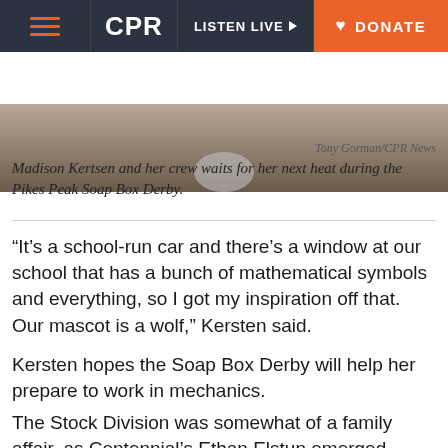CPR | LISTEN LIVE | DONATE
[Figure (photo): Photo of Madison Kertsen and her crew at the Pikes Peak Soap Box Derby, partial view showing ground and vehicle]
Tony Gorman/CPR News
Madison Kertsen and her crew waits for her next heat during the Pikes Peak Soap Box Derby.
“It’s a school-run car and there’s a window at our school that has a bunch of mathematical symbols and everything, so I got my inspiration off that. Our mascot is a wolf,” Kersten said.
Kersten hopes the Soap Box Derby will help her prepare to work in mechanics.
The Stock Division was somewhat of a family affair, as Centennial’s Ethan Elstun emerged victorious